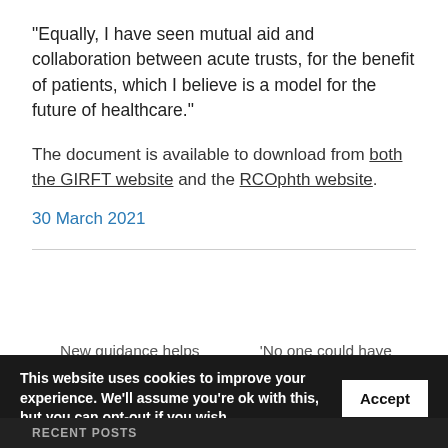“Equally, I have seen mutual aid and collaboration between acute trusts, for the benefit of patients, which I believe is a model for the future of healthcare.”
The document is available to download from both the GIRFT website and the RCOphth website.
30 March 2021
← New guidance helps healthcare systems get back on track with cardiovascular disease
‘No one could have been more dedicated’: thanks as GIRFT lead steps down from →
This website uses cookies to improve your experience. We’ll assume you’re ok with this, but you can opt-out if you wish.
RECENT POSTS